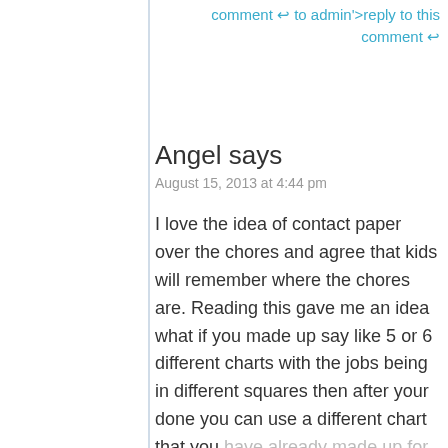comment ↩ to admin'>reply to this comment ↩
Angel says
August 15, 2013 at 4:44 pm
I love the idea of contact paper over the chores and agree that kids will remember where the chores are. Reading this gave me an idea what if you made up say like 5 or 6 different charts with the jobs being in different squares then after your done you can use a different chart that you have already made up for the next week. I am going to try this...thanks for the